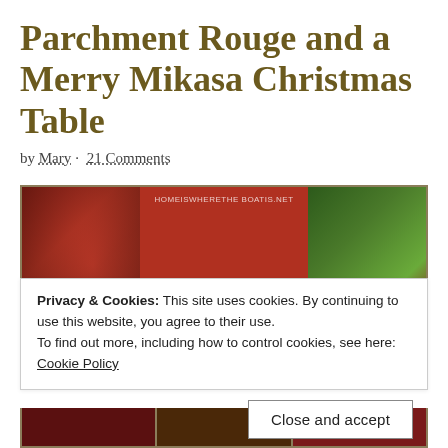Parchment Rouge and a Merry Mikasa Christmas Table
by Mary · 21 Comments
[Figure (photo): Triptych photo collage of a Christmas table setting. Left panel: red plate with apples, nuts, and holiday decorations. Center panel: white Mikasa china sugar bowl and creamer with red texture band, stacked on plates, on plaid tablecloth; watermark HOMEISWHERETHE BOATIS.NET. Right panel: green holiday foliage with red apples and ornaments.]
Privacy & Cookies: This site uses cookies. By continuing to use this website, you agree to their use.
To find out more, including how to control cookies, see here:
Cookie Policy
Close and accept
[Figure (photo): Bottom strip showing partial Christmas table setting photos.]